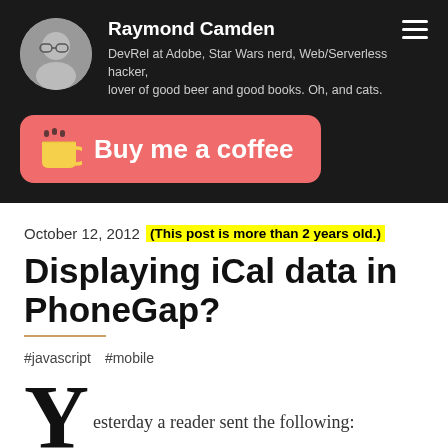Raymond Camden — DevRel at Adobe, Star Wars nerd, Web/Serverless hacker, lover of good beer and good books. Oh, and cats.
[Figure (infographic): Buy me a coffee button — salmon/coral rounded rectangle with coffee cup icon and cursive text]
October 12, 2012  (This post is more than 2 years old.)
Displaying iCal data in PhoneGap?
#javascript  #mobile
Yesterday a reader sent the following: